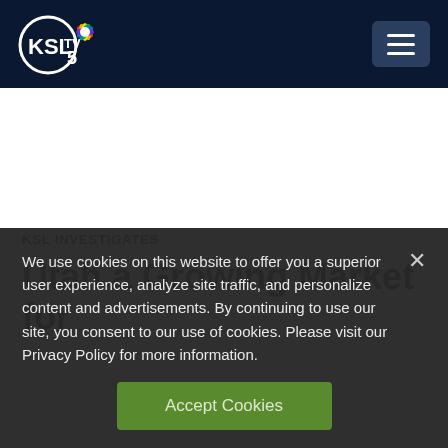KSL TV 5 — navigation header with logo and menu button
KSL INVESTIGATES
Utah a Growing Market for
We use cookies on this website to offer you a superior user experience, analyze site traffic, and personalize content and advertisements. By continuing to use our site, you consent to our use of cookies. Please visit our Privacy Policy for more information.
Accept Cookies